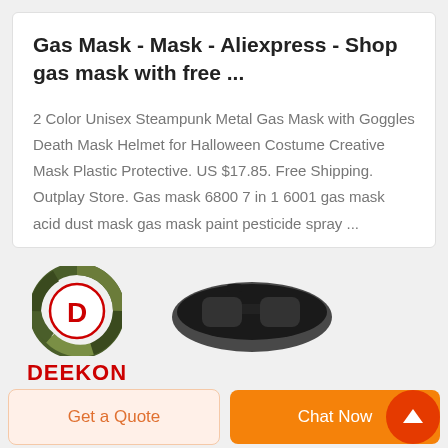Gas Mask - Mask - Aliexpress - Shop gas mask with free ...
2 Color Unisex Steampunk Metal Gas Mask with Goggles Death Mask Helmet for Halloween Costume Creative Mask Plastic Protective. US $17.85. Free Shipping. Outplay Store. Gas mask 6800 7 in 1 6001 gas mask acid dust mask gas mask paint pesticide spray ...
[Figure (logo): DEEKON brand logo with circular camouflage-patterned icon and red DEEKON text below]
[Figure (photo): Partial product image showing a dark-colored gas mask or goggles]
Get a Quote
Chat Now